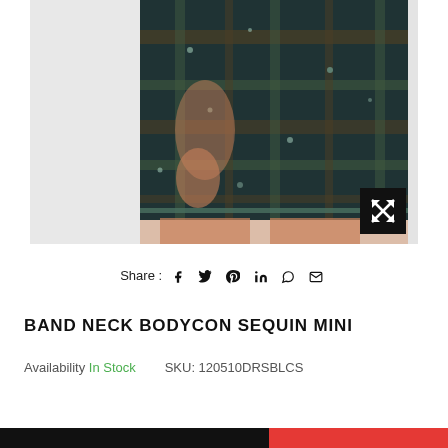[Figure (photo): Close-up of a model wearing a plaid sequin mini skirt in dark teal/green/brown tones. The image is cropped showing the torso and upper thighs. A black expand/zoom button appears at the bottom right corner of the image.]
Share : (social icons: Facebook, Twitter, Pinterest, LinkedIn, WhatsApp, Email)
BAND NECK BODYCON SEQUIN MINI
Availability In Stock   SKU: 120510DRSBLCS